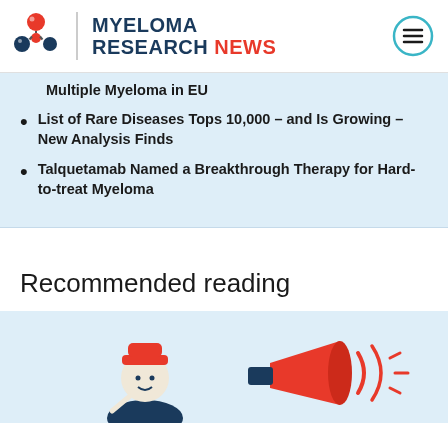[Figure (logo): Myeloma Research News logo with molecular icon and hamburger menu icon]
Multiple Myeloma in EU
List of Rare Diseases Tops 10,000 – and Is Growing – New Analysis Finds
Talquetamab Named a Breakthrough Therapy for Hard-to-treat Myeloma
Recommended reading
[Figure (illustration): Cartoon illustration of a person with a megaphone, in red, dark navy and white colors]